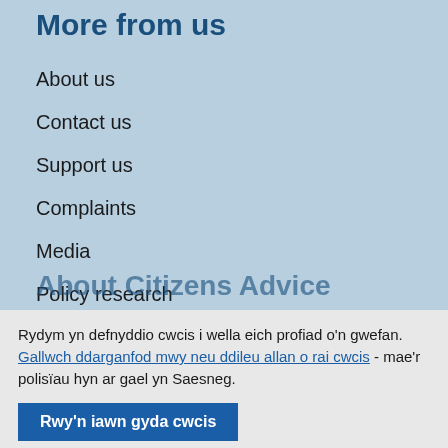More from us
About us
Contact us
Support us
Complaints
Media
Policy research
Volunteering
About Citizens Advice
Rydym yn defnyddio cwcis i wella eich profiad o'n gwefan. Gallwch ddarganfod mwy neu ddileu allan o rai cwcis - mae'r polisïau hyn ar gael yn Saesneg.
Rwy'n iawn gyda cwcis